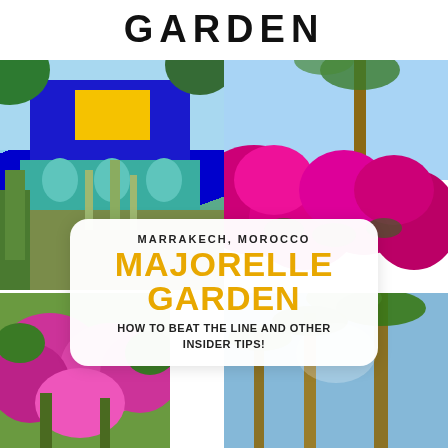GARDEN
[Figure (photo): Blue Majorelle building with arches, cacti, and tropical plants]
[Figure (photo): Bright magenta bougainvillea flowers against blue sky and palm trees]
[Figure (photo): Pink bougainvillea flowers and green trees]
[Figure (photo): Palm tree tops against blue sky]
MARRAKECH, MOROCCO
MAJORELLE GARDEN
HOW TO BEAT THE LINE AND OTHER INSIDER TIPS!